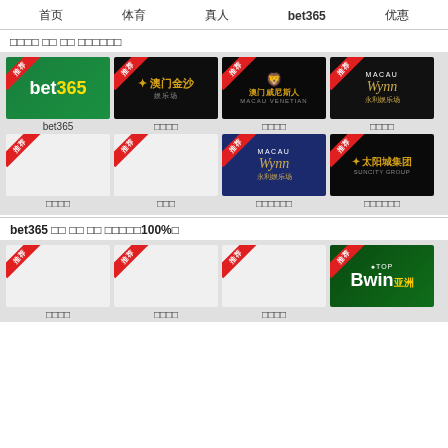首页  体育  真人  bet365  优惠
□□□□ □□ □□ □□□□□□
[Figure (logo): bet365 green logo]
bet365
[Figure (logo): 澳门金沙 casino logo]
□□□□
[Figure (logo): 澳门威尼斯人 MACAU VENETIAN logo]
□□□□
[Figure (logo): Wynn Macau 永利娱乐场 logo]
□□□□
[Figure (logo): placeholder casino logo]
□□□□
[Figure (logo): placeholder casino logo]
□□□
[Figure (logo): Wynn Macau blue logo]
□□□□□□
[Figure (logo): Suncity Group 太阳城集团 logo]
□□□□□□
bet365 □□ □□ □□ □□□□□100%□
[Figure (logo): placeholder casino logo]
□□□□
[Figure (logo): placeholder casino logo]
□□□□
[Figure (logo): placeholder casino logo]
□□□□
[Figure (logo): Bwin 亚洲 logo]